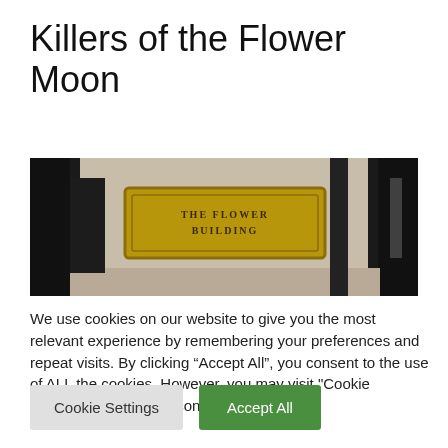Killers of the Flower Moon
[Figure (photo): Exterior building photo showing a bronze/gold sign reading 'THE FLOWER BUILDING' mounted on a stone or marble wall, with dark doorframes visible on either side.]
We use cookies on our website to give you the most relevant experience by remembering your preferences and repeat visits. By clicking “Accept All”, you consent to the use of ALL the cookies. However, you may visit "Cookie Settings" to provide a controlled consent.
Cookie Settings
Accept All